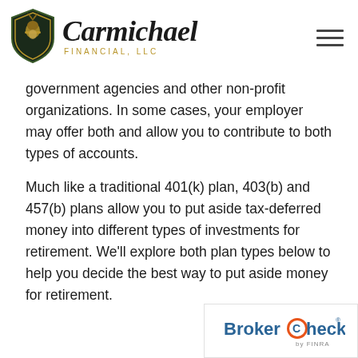Carmichael Financial, LLC
government agencies and other non-profit organizations. In some cases, your employer may offer both and allow you to contribute to both types of accounts.
Much like a traditional 401(k) plan, 403(b) and 457(b) plans allow you to put aside tax-deferred money into different types of investments for retirement. We'll explore both plan types below to help you decide the best way to put aside money for retirement.
[Figure (logo): BrokerCheck by FINRA logo]